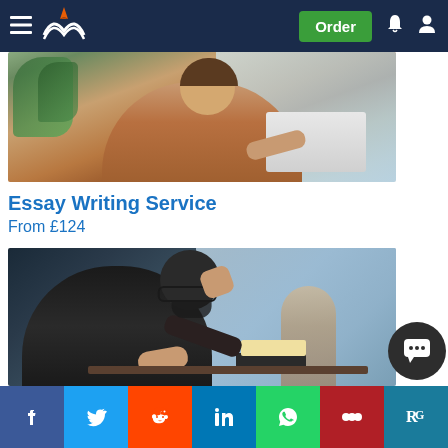Essay Writing Service website navigation bar with hamburger menu, logo, Order button, bell and user icons
[Figure (photo): Woman in tan/beige top sitting at a cafe table working on a laptop, photographed from above-right angle, warm tones]
Essay Writing Service
From £124
[Figure (photo): Bearded man wearing glasses and dark beanie hat sitting at a cafe table with a coffee cup, books, reading and thinking, blue-toned background with second person in background]
Disse...
From £124
[Figure (other): Social sharing toolbar with Facebook, Twitter, Reddit, LinkedIn, WhatsApp, Mendeley, and ResearchGate buttons]